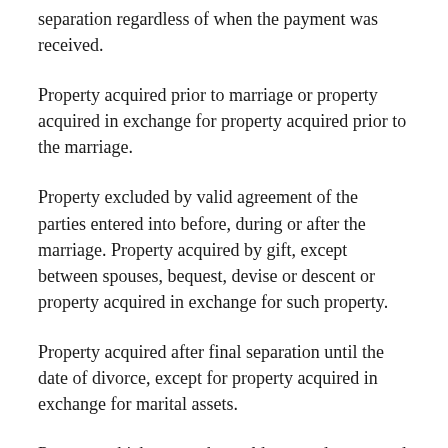separation regardless of when the payment was received.
Property acquired prior to marriage or property acquired in exchange for property acquired prior to the marriage.
Property excluded by valid agreement of the parties entered into before, during or after the marriage. Property acquired by gift, except between spouses, bequest, devise or descent or property acquired in exchange for such property.
Property acquired after final separation until the date of divorce, except for property acquired in exchange for marital assets.
Property which a party has sold, granted, conveyed or